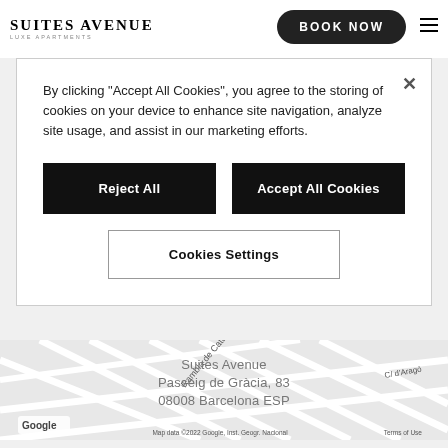SUITES AVENUE LUXE APARTMENTS | BOOK NOW
By clicking “Accept All Cookies”, you agree to the storing of cookies on your device to enhance site navigation, analyze site usage, and assist in our marketing efforts.
Reject All
Accept All Cookies
Cookies Settings
[Figure (map): Google Maps view showing Rambla de Catalunya and C/ d’Aragó streets in Barcelona. Map data ©2022 Google, Inst. Geogr. Nacional]
Suites Avenue
Passeig de Gràcia, 83
08008 Barcelona ESP